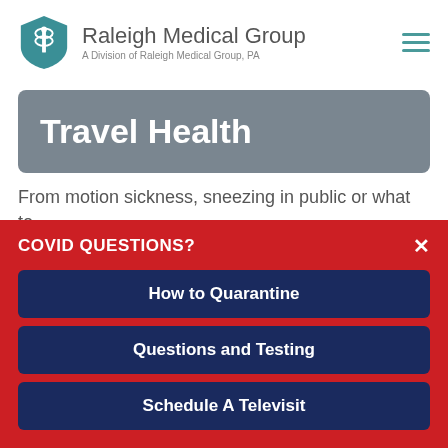Raleigh Medical Group — A Division of Raleigh Medical Group, PA
Travel Health
From motion sickness, sneezing in public or what to do on your first night abroad it comes to...
COVID QUESTIONS?
How to Quarantine
Questions and Testing
Schedule A Televisit